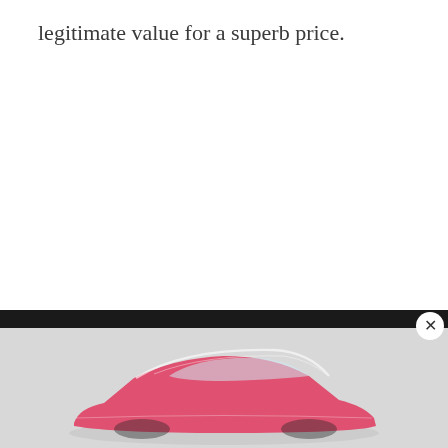legitimate value for a superb price.
[Figure (photo): A partial view of a pink/red car on a gray background, shown in the bottom portion of the page inside a dark-framed panel with a close (X) button in the top-right corner.]